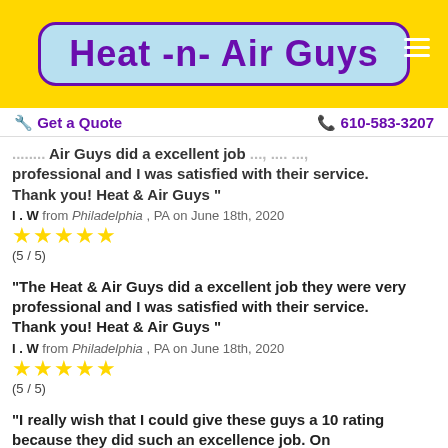[Figure (logo): Heat-n-Air Guys logo on yellow background with light blue rounded rectangle and purple text]
Get a Quote   610-583-3207
...Heat -n- Air Guys did a excellent job they, were very, professional and I was satisfied with their service. Thank you! Heat & Air Guys"
I . W from Philadelphia , PA on June 18th, 2020
★★★★★ (5 / 5)
"The Heat & Air Guys did a excellent job they were very professional and I was satisfied with their service. Thank you! Heat & Air Guys"
I . W from Philadelphia , PA on June 18th, 2020
★★★★★ (5 / 5)
"I really wish that I could give these guys a 10 rating because they did such an excellence job. On